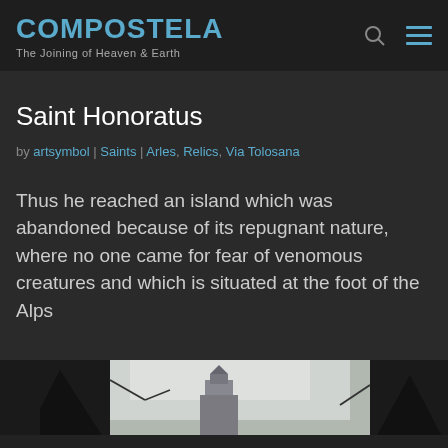COMPOSTELA — The Joining of Heaven & Earth
Saint Honoratus
by artsymbol | Saints | Arles, Relics, Via Tolosana
Thus he reached an island which was abandoned because of its repugnant nature, where no one came for fear of venomous creatures and which is situated at the foot of the Alps
[Figure (photo): Black and white photograph showing trees and a church tower or building in the background against a grey sky]